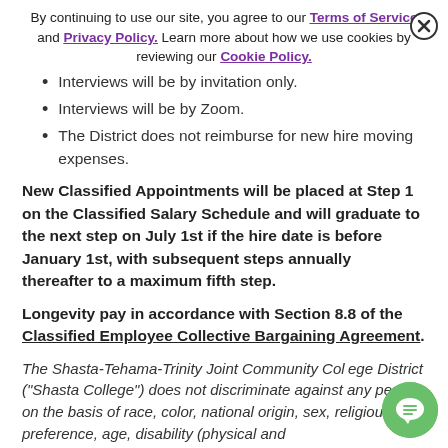By continuing to use our site, you agree to our Terms of Service and Privacy Policy. Learn more about how we use cookies by reviewing our Cookie Policy.
Interviews will be by invitation only.
Interviews will be by Zoom.
The District does not reimburse for new hire moving expenses.
New Classified Appointments will be placed at Step 1 on the Classified Salary Schedule and will graduate to the next step on July 1st if the hire date is before January 1st, with subsequent steps annually thereafter to a maximum fifth step.
Longevity pay in accordance with Section 8.8 of the Classified Employee Collective Bargaining Agreement.
The Shasta-Tehama-Trinity Joint Community College District ("Shasta College") does not discriminate against any person on the basis of race, color, national origin, sex, religious preference, age, disability (physical and